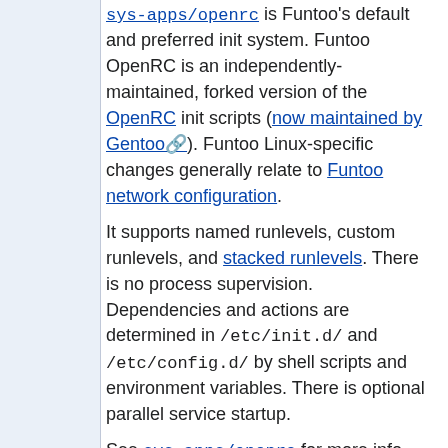sys-apps/openrc is Funtoo's default and preferred init system. Funtoo OpenRC is an independently-maintained, forked version of the OpenRC init scripts (now maintained by Gentoo). Funtoo Linux-specific changes generally relate to Funtoo network configuration.
It supports named runlevels, custom runlevels, and stacked runlevels. There is no process supervision. Dependencies and actions are determined in /etc/init.d/ and /etc/config.d/ by shell scripts and environment variables. There is optional parallel service startup.
See sys-apps/openrc for more info.
sysvinit
No results is the main init process. In Funtoo it is used as PID 1, along with sys-apps/openrc. It utilizes a